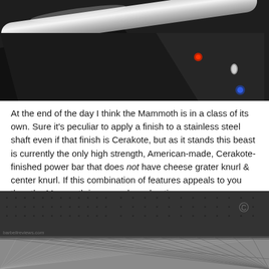[Figure (photo): Close-up photo of a metal barbell shaft/bar, dark background with a red dot and blue/silver fasteners visible in the upper right area. The bar appears to have a metallic or coated finish.]
At the end of the day I think the Mammoth is in a class of its own. Sure it's peculiar to apply a finish to a stainless steel shaft even if that finish is Cerakote, but as it stands this beast is currently the only high strength, American-made, Cerakote-finished power bar that does not have cheese grater knurl & center knurl. If this combination of features appeals to you then the Mammoth is your only real option.
[Figure (photo): Close-up macro photo of a barbell knurl texture on a dark/grey surface, showing the diamond-pattern knurling detail. A copyright symbol watermark is visible in the upper right.]